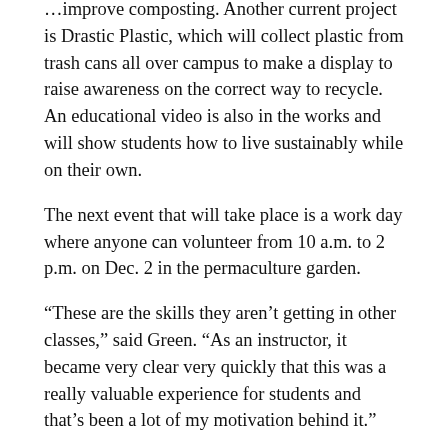…improve composting. Another current project is Drastic Plastic, which will collect plastic from trash cans all over campus to make a display to raise awareness on the correct way to recycle. An educational video is also in the works and will show students how to live sustainably while on their own.
The next event that will take place is a work day where anyone can volunteer from 10 a.m. to 2 p.m. on Dec. 2 in the permaculture garden.
“These are the skills they aren’t getting in other classes,” said Green. “As an instructor, it became very clear very quickly that this was a really valuable experience for students and that’s been a lot of my motivation behind it.”
Garden
Green Colleges Leadership Award
SBCC
Sustainability club
West Campus